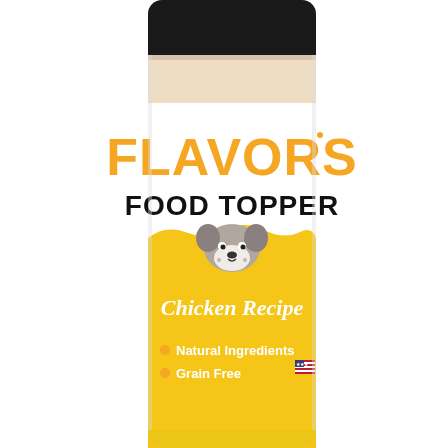[Figure (photo): A cylindrical pet food topper shaker bottle with a black lid. The label is white on top and yellow on the bottom. Large orange bold letters read 'FLAVORS' at the top of the label, followed by bold black text 'FOOD TOPPER'. A cartoon French Bulldog dog face peeks over a yellow wavy band. In the yellow section, italic white text reads 'Chicken Recipe'. Below that, bullet points read 'Natural Ingredients' and 'Grain Free', with a small US flag icon in the lower right. The bottle contains a brownish powder visible through the clear glass top.]